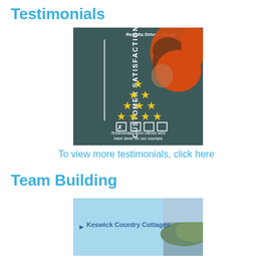Testimonials
[Figure (illustration): Book cover titled 'Customer Satisfaction' with 'Results Driven Group' at top, a woman in orange top leaning with long hair, yellow stars arranged in a growing pyramid pattern (1, 2, 3, 4), rating checkboxes at bottom, and text 'Testimonials from clients who have been on our courses']
To view more testimonials, click here
Team Building
[Figure (illustration): Banner image showing Keswick Country Cottages logo with landscape photo]